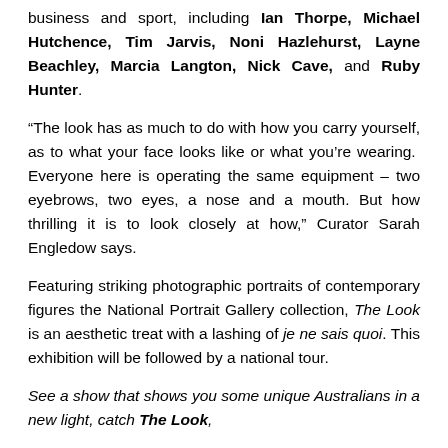business and sport, including Ian Thorpe, Michael Hutchence, Tim Jarvis, Noni Hazlehurst, Layne Beachley, Marcia Langton, Nick Cave, and Ruby Hunter.
“The look has as much to do with how you carry yourself, as to what your face looks like or what you’re wearing.  Everyone here is operating the same equipment – two eyebrows, two eyes, a nose and a mouth. But how thrilling it is to look closely at how,” Curator Sarah Engledow says.
Featuring striking photographic portraits of contemporary figures the National Portrait Gallery collection, The Look is an aesthetic treat with a lashing of je ne sais quoi. This exhibition will be followed by a national tour.
See a show that shows you some unique Australians in a new light, catch The Look,